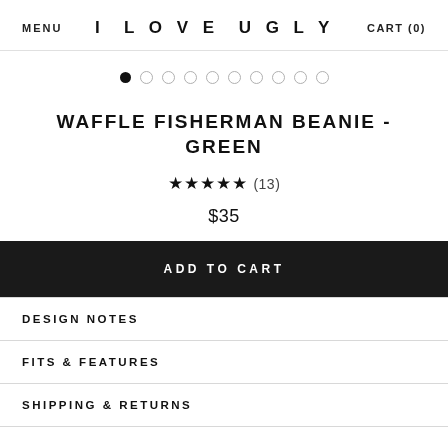MENU   I LOVE UGLY   CART (0)
[Figure (other): Image carousel dot indicators: 10 dots, first dot filled/active, rest empty circles]
WAFFLE FISHERMAN BEANIE - GREEN
★★★★★ (13)
$35
ADD TO CART
DESIGN NOTES
FITS & FEATURES
SHIPPING & RETURNS